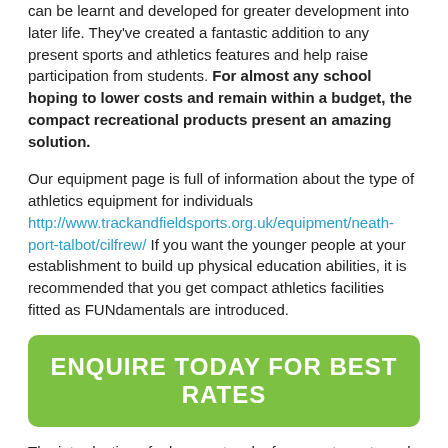can be learnt and developed for greater development into later life. They've created a fantastic addition to any present sports and athletics features and help raise participation from students. For almost any school hoping to lower costs and remain within a budget, the compact recreational products present an amazing solution.
Our equipment page is full of information about the type of athletics equipment for individuals http://www.trackandfieldsports.org.uk/equipment/neath-port-talbot/cilfrew/ If you want the younger people at your establishment to build up physical education abilities, it is recommended that you get compact athletics facilities fitted as FUNdamentals are introduced.
[Figure (other): Green button with text: ENQUIRE TODAY FOR BEST RATES]
The introduction of a large network of compact sports and athletics facilities is a major factor of UKAs purpose to get the interest and demand in the sport. Since the IAAF and IPC World